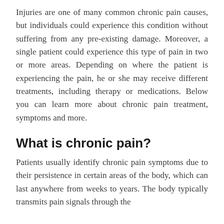Injuries are one of many common chronic pain causes, but individuals could experience this condition without suffering from any pre-existing damage. Moreover, a single patient could experience this type of pain in two or more areas. Depending on where the patient is experiencing the pain, he or she may receive different treatments, including therapy or medications. Below you can learn more about chronic pain treatment, symptoms and more.
What is chronic pain?
Patients usually identify chronic pain symptoms due to their persistence in certain areas of the body, which can last anywhere from weeks to years. The body typically transmits pain signals through the